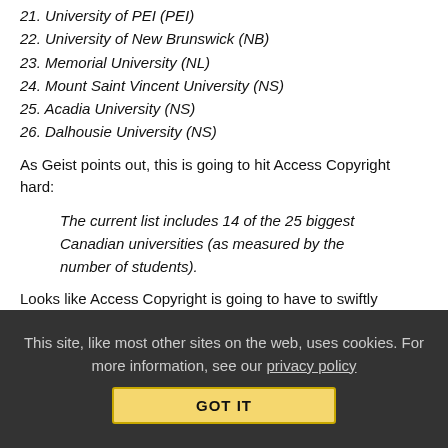21. University of PEI (PEI)
22. University of New Brunswick (NB)
23. Memorial University (NL)
24. Mount Saint Vincent University (NS)
25. Acadia University (NS)
26. Dalhousie University (NS)
As Geist points out, this is going to hit Access Copyright hard:
The current list includes 14 of the 25 biggest Canadian universities (as measured by the number of students).
Looks like Access Copyright is going to have to swiftly familiarize itself with an economic truism, one that most politicians seem unable to comprehend: If you tax something (and that's really what this is — an arbitrary fee that enables Access Copyright to stay solvent
This site, like most other sites on the web, uses cookies. For more information, see our privacy policy
GOT IT